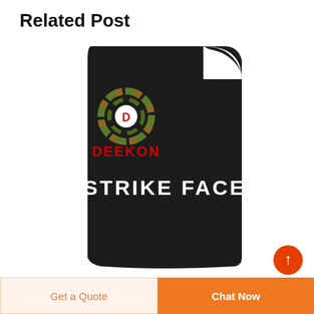Related Post
[Figure (photo): A black ballistic strike face plate with white text 'STRIKE FACE' printed on it, overlaid with the Deekon brand logo (green/camo circular target icon with red 'D' center and red bold 'DEEKON' text below).]
Get a Quote
Chat Now